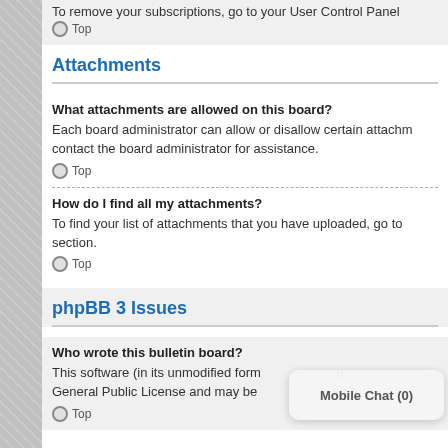To remove your subscriptions, go to your User Control Panel
Top
Attachments
What attachments are allowed on this board?
Each board administrator can allow or disallow certain attachments. If you are unsure what is allowed to be uploaded, contact the board administrator for assistance.
Top
How do I find all my attachments?
To find your list of attachments that you have uploaded, go to your User Control Panel and follow the links to the attachments section.
Top
phpBB 3 Issues
Who wrote this bulletin board?
This software (in its unmodified form) is produced, released and is copyright phpBB Group. It is made available under the GNU General Public License and may be freely distributed.
Top